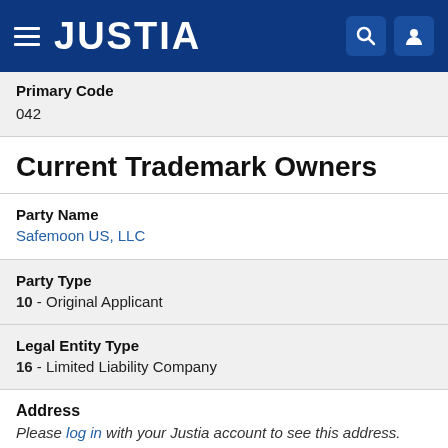JUSTIA
Primary Code
042
Current Trademark Owners
Party Name
Safemoon US, LLC
Party Type
10 - Original Applicant
Legal Entity Type
16 - Limited Liability Company
Address
Please log in with your Justia account to see this address.